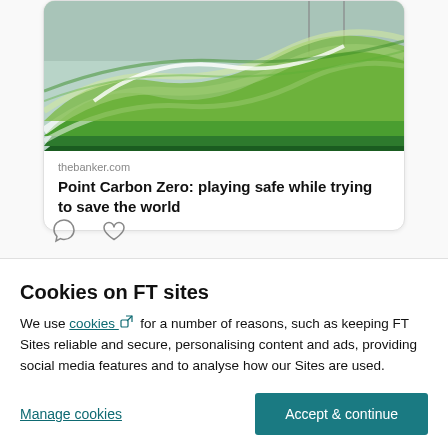[Figure (illustration): Green abstract waves/rolling hills artwork used as article card image for thebanker.com]
thebanker.com
Point Carbon Zero: playing safe while trying to save the world
[Figure (other): Comment bubble icon and heart/like icon below the article card]
Cookies on FT sites
We use cookies for a number of reasons, such as keeping FT Sites reliable and secure, personalising content and ads, providing social media features and to analyse how our Sites are used.
Manage cookies | Accept & continue